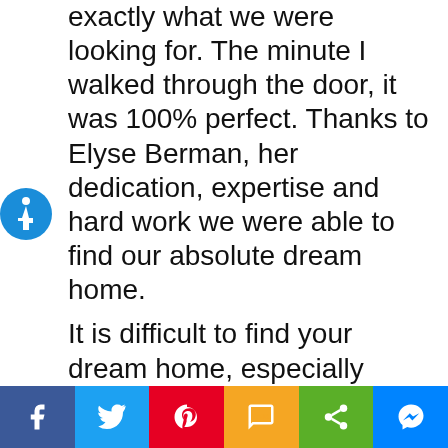exactly what we were looking for. The minute I walked through the door, it was 100% perfect. Thanks to Elyse Berman, her dedication, expertise and hard work we were able to find our absolute dream home.
It is difficult to find your dream home, especially when you are looking from afar. Elyse was there every step of the way. Nothing felt confusing, overwhelming or intimidating, even dealing with issues from a distance. I felt
[Figure (illustration): Blue circular accessibility icon with wheelchair symbol]
[Figure (infographic): Social share bar with Facebook, Twitter, Pinterest, SMS, Share, and Messenger buttons]